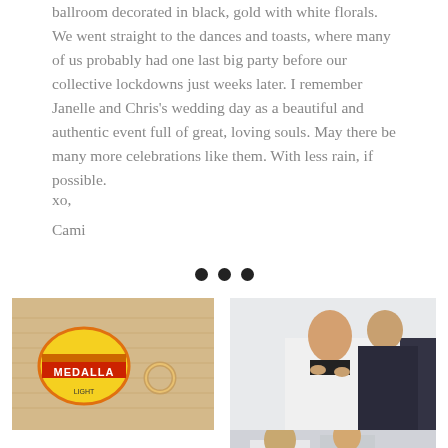ballroom decorated in black, gold with white florals. We went straight to the dances and toasts, where many of us probably had one last big party before our collective lockdowns just weeks later. I remember Janelle and Chris's wedding day as a beautiful and authentic event full of great, loving souls. May there be many more celebrations like them. With less rain, if possible.
xo,
Cami
[Figure (other): Three decorative dots used as a section divider]
[Figure (photo): Close-up photo of a straw hat with a Medalla beer label and a wedding ring resting on the brim]
[Figure (photo): Photo of a man in a white dress shirt and dark suit jacket having his collar adjusted by another man standing behind him]
[Figure (photo): Partial photo of people in formal attire, partially cropped at the bottom of the page]